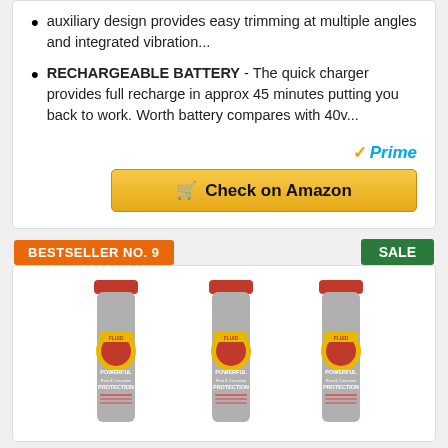auxiliary design provides easy trimming at multiple angles and integrated vibration...
RECHARGEABLE BATTERY - The quick charger provides full recharge in approx 45 minutes putting you back to work. Worth battery compares with 40v...
[Figure (other): Amazon Prime logo with orange checkmark and blue Prime text]
[Figure (other): Yellow Check on Amazon button with cart icon]
BESTSELLER NO. 9
SALE
[Figure (photo): Three Fluid Film spray cans with red tops and gray labels showing POWERFUL Rust & Corrosion Protection]